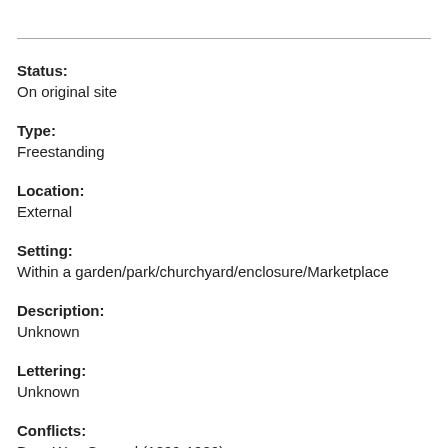Status:
On original site
Type:
Freestanding
Location:
External
Setting:
Within a garden/park/churchyard/enclosure/Marketplace
Description:
Unknown
Lettering:
Unknown
Conflicts:
Boer War, Second (1899-1902)